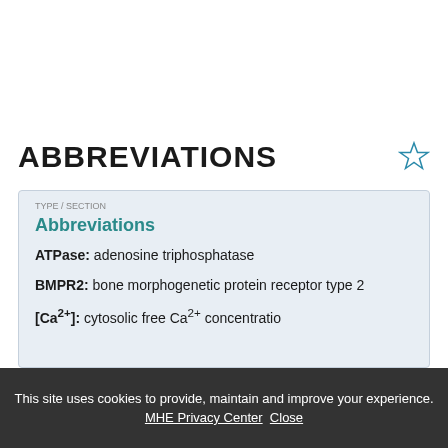ABBREVIATIONS
Abbreviations
ATPase: adenosine triphosphatase
BMPR2: bone morphogenetic protein receptor type 2
[Ca2+]: cytosolic free Ca2+ concentration
This site uses cookies to provide, maintain and improve your experience. MHE Privacy Center  Close